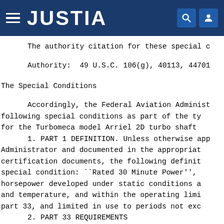JUSTIA
The authority citation for these special c
Authority:  49 U.S.C. 106(g), 40113, 44701
The Special Conditions
Accordingly, the Federal Aviation Administ following special conditions as part of the ty for the Turbomeca model Arriel 2D turbo shaft
1. PART 1 DEFINITION. Unless otherwise app Administrator and documented in the appropriat certification documents, the following definit special condition: ``Rated 30 Minute Power'', horsepower developed under static conditions a and temperature, and within the operating limi part 33, and limited in use to periods not exc
2. PART 33 REQUIREMENTS